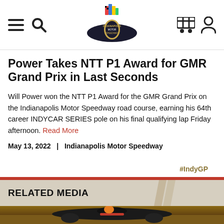Indianapolis Motor Speedway navigation header with logo
Power Takes NTT P1 Award for GMR Grand Prix in Last Seconds
Will Power won the NTT P1 Award for the GMR Grand Prix on the Indianapolis Motor Speedway road course, earning his 64th career INDYCAR SERIES pole on his final qualifying lap Friday afternoon. Read More
May 13, 2022   |   Indianapolis Motor Speedway
#IndyGP
RELATED MEDIA
[Figure (photo): Race car on a dirt track, driver in helmet, dark open-wheel race car with sponsors including Valvoline]